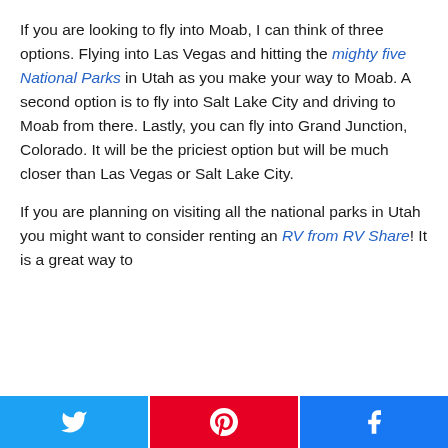If you are looking to fly into Moab,  I can think of three options.  Flying into Las Vegas and hitting the mighty five National Parks in Utah as you make your way to Moab.  A second option is to fly into Salt Lake City and driving to Moab from there.  Lastly, you can fly into Grand Junction, Colorado.  It will be the priciest option but will be much closer than Las Vegas or Salt Lake City.
If you are planning on visiting all the national parks in Utah you might want to consider renting an RV from RV Share! It is a great way to
[Figure (other): Social share buttons: Twitter (blue), Pinterest (red), Facebook (dark blue)]